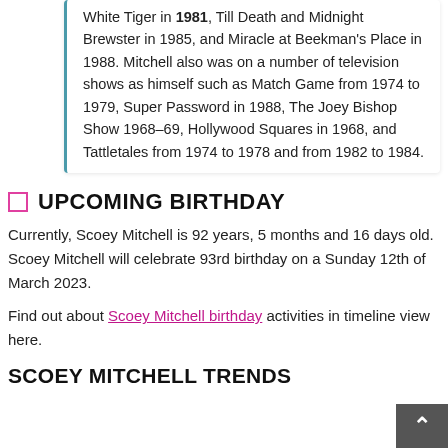White Tiger in 1981, Till Death and Midnight Brewster in 1985, and Miracle at Beekman's Place in 1988. Mitchell also was on a number of television shows as himself such as Match Game from 1974 to 1979, Super Password in 1988, The Joey Bishop Show 1968–69, Hollywood Squares in 1968, and Tattletales from 1974 to 1978 and from 1982 to 1984.
UPCOMING BIRTHDAY
Currently, Scoey Mitchell is 92 years, 5 months and 16 days old. Scoey Mitchell will celebrate 93rd birthday on a Sunday 12th of March 2023.
Find out about Scoey Mitchell birthday activities in timeline view here.
SCOEY MITCHELL TRENDS